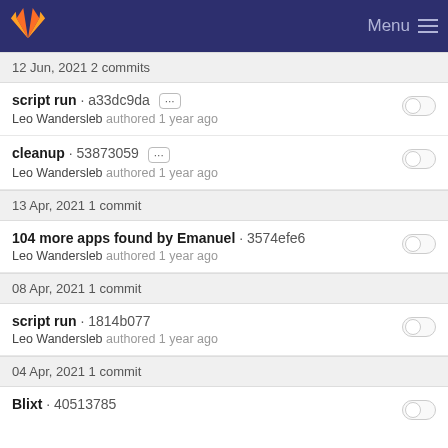GitLab Menu
12 Jun, 2021 2 commits
script run · a33dc9da ··· Leo Wandersleb authored 1 year ago
cleanup · 53873059 ··· Leo Wandersleb authored 1 year ago
13 Apr, 2021 1 commit
104 more apps found by Emanuel · 3574efe6 Leo Wandersleb authored 1 year ago
08 Apr, 2021 1 commit
script run · 1814b077 Leo Wandersleb authored 1 year ago
04 Apr, 2021 1 commit
Blixt · 40513785